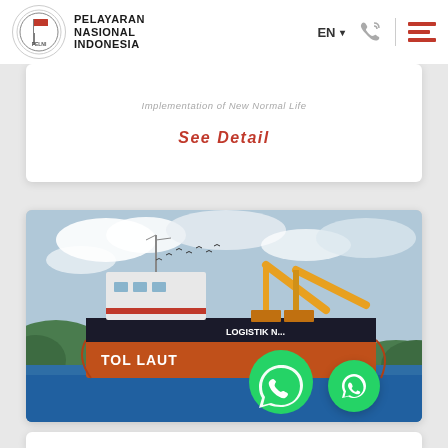PELAYARAN NASIONAL INDONESIA
Implementation of New Normal Life
See Detail
[Figure (photo): A cargo ship named 'TOL LAUT' and 'LOGISTIK NUSANTARA' with yellow cranes, sailing on blue water with green hills in the background and birds flying in a cloudy sky.]